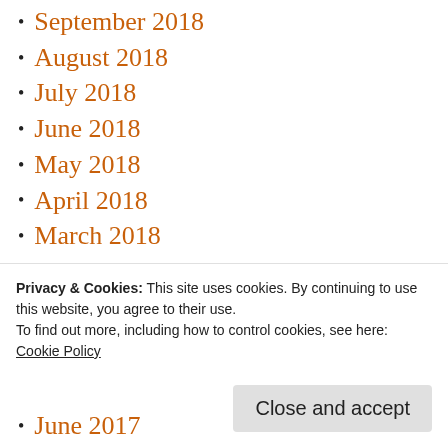September 2018
August 2018
July 2018
June 2018
May 2018
April 2018
March 2018
February 2018
January 2018
December 2017
November 2017
Privacy & Cookies: This site uses cookies. By continuing to use this website, you agree to their use.
To find out more, including how to control cookies, see here:
Cookie Policy
June 2017